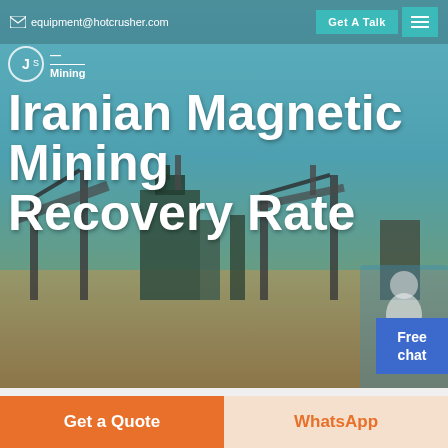equipment@hotcrusher.com  Get A Talk
[Figure (screenshot): Mining equipment / conveyor facility hero banner image with blue sky background. Overlaid with large white bold text reading 'Iranian Magnetic Mining Recovery Rate'. Logo visible top-left. Customer service agent image bottom-right.]
Iranian Magnetic Mining Recovery Rate
Home / Products
Different Machines To Meet All Need
Get a Quote
WhatsApp